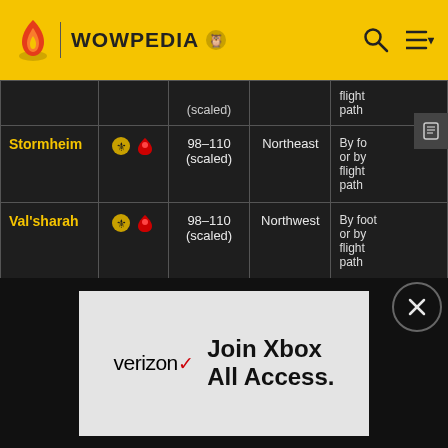WOWPEDIA
| Zone | Factions | Level | Location | Access |
| --- | --- | --- | --- | --- |
|  |  | (scaled) |  | flight path |
| Stormheim | [Alliance][Horde] | 98-110 (scaled) | Northeast | By foot or by flight path |
| Val'sharah | [Alliance][Horde] | 98-110 (scaled) | Northwest | By foot or by flight path |
[Figure (advertisement): Verizon ad promoting Join Xbox All Access]